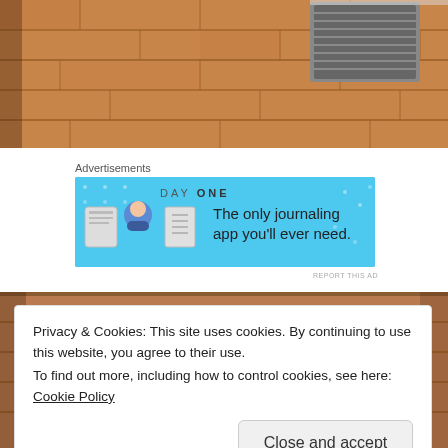[Figure (photo): Wooden hardwood floor with visible planks and a floor vent/grate in the upper portion of the image]
Advertisements
[Figure (other): Day One app advertisement banner on blue background. Text: DAY ONE - The only journaling app you'll ever need.]
[Figure (photo): Partial photo of a room, mostly obscured by cookie consent overlay]
Privacy & Cookies: This site uses cookies. By continuing to use this website, you agree to their use.
To find out more, including how to control cookies, see here: Cookie Policy
Close and accept